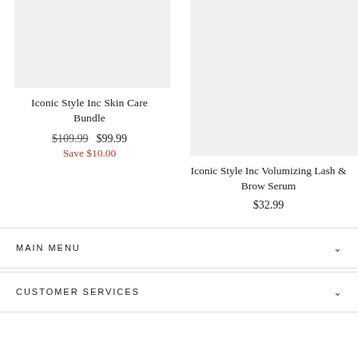[Figure (photo): Product image placeholder for Iconic Style Inc Skin Care Bundle]
Iconic Style Inc Skin Care Bundle
$109.99  $99.99
Save $10.00
[Figure (photo): Product image placeholder for Iconic Style Inc Volumizing Lash & Brow Serum]
Iconic Style Inc Volumizing Lash & Brow Serum
$32.99
MAIN MENU
CUSTOMER SERVICES